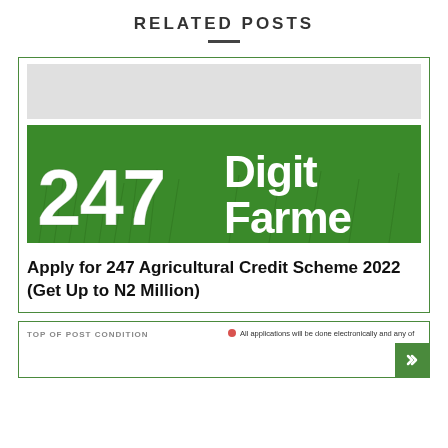RELATED POSTS
[Figure (logo): 247 Digital Farmer logo with green background and white text showing '247 Digital Farmer' with grass imagery]
Apply for 247 Agricultural Credit Scheme 2022 (Get Up to N2 Million)
[Figure (screenshot): Partial view of a second related post card showing text about applications being done electronically]